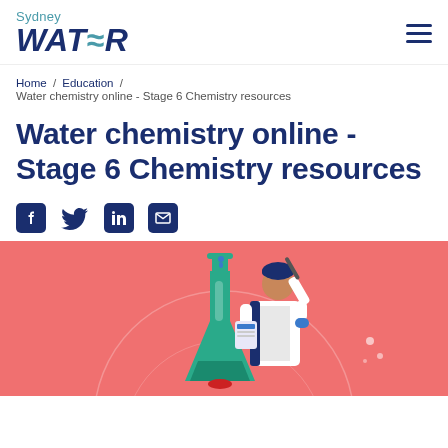Sydney WATER
Home / Education / Water chemistry online - Stage 6 Chemistry resources
Water chemistry online - Stage 6 Chemistry resources
[Figure (illustration): Social media share icons: Facebook, Twitter, LinkedIn, Email]
[Figure (illustration): Hero image with salmon/coral pink background showing a scientist in a white lab coat and blue gloves adding liquid from a dropper into a large green Erlenmeyer flask, with circular design elements in the background]